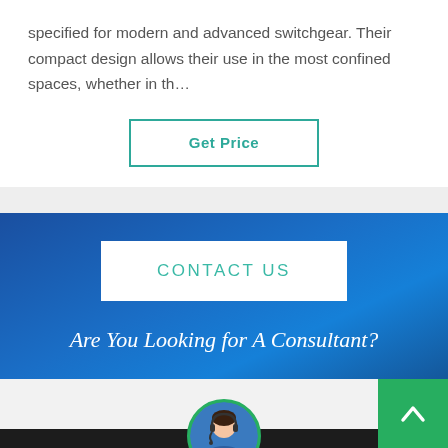specified for modern and advanced switchgear. Their compact design allows their use in the most confined spaces, whether in th…
Get Price
CONTACT US
Are You Looking for A Consultant?
[Figure (photo): Circular avatar of a customer service representative with headset, positioned in the footer area with green circular border.]
Leave Message
Chat Online
Latest News